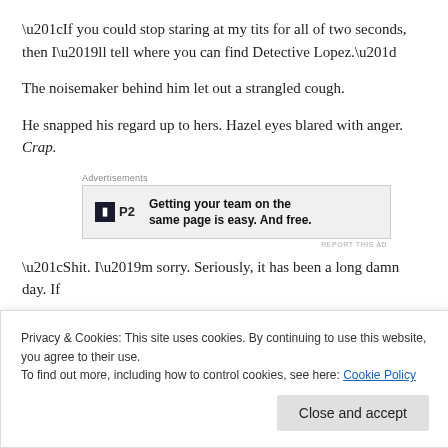“If you could stop staring at my tits for all of two seconds, then I’ll tell where you can find Detective Lopez.”
The noisemaker behind him let out a strangled cough.
He snapped his regard up to hers. Hazel eyes blared with anger. Crap.
[Figure (other): Advertisement banner: P2 logo with text 'Getting your team on the same page is easy. And free.']
“Shit. I’m sorry. Seriously, it has been a long damn day. If
Privacy & Cookies: This site uses cookies. By continuing to use this website, you agree to their use.
To find out more, including how to control cookies, see here: Cookie Policy